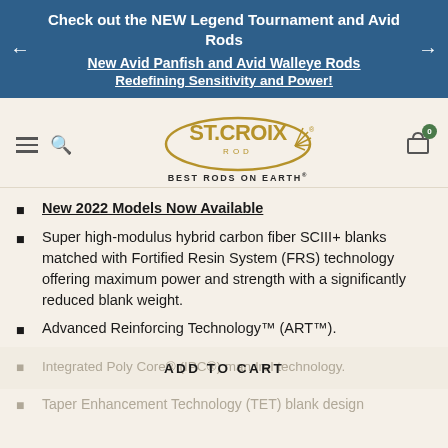Check out the NEW Legend Tournament and Avid Rods
New Avid Panfish and Avid Walleye Rods
Redefining Sensitivity and Power!
[Figure (logo): St. Croix Rod logo with text BEST RODS ON EARTH]
New 2022 Models Now Available
Super high-modulus hybrid carbon fiber SCIII+ blanks matched with Fortified Resin System (FRS) technology offering maximum power and strength with a significantly reduced blank weight.
Advanced Reinforcing Technology™ (ART™).
Integrated Poly Core® (IPC®) mandrel technology.
Taper Enhancement Technology (TET) blank design